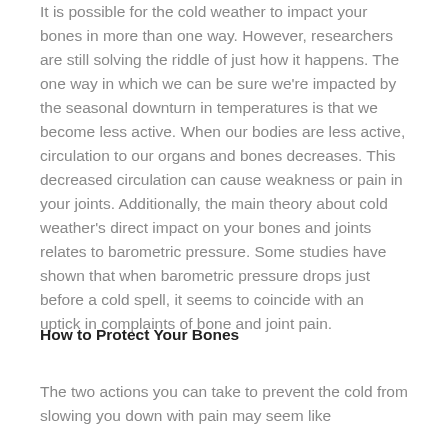It is possible for the cold weather to impact your bones in more than one way. However, researchers are still solving the riddle of just how it happens. The one way in which we can be sure we're impacted by the seasonal downturn in temperatures is that we become less active. When our bodies are less active, circulation to our organs and bones decreases. This decreased circulation can cause weakness or pain in your joints. Additionally, the main theory about cold weather's direct impact on your bones and joints relates to barometric pressure. Some studies have shown that when barometric pressure drops just before a cold spell, it seems to coincide with an uptick in complaints of bone and joint pain.
How to Protect Your Bones
The two actions you can take to prevent the cold from slowing you down with pain may seem like